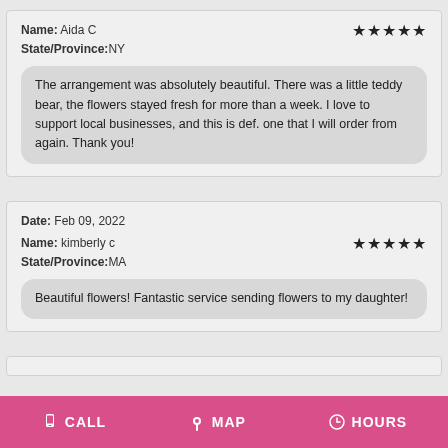Name: Aida C | State/Province: NY | 5 stars
The arrangement was absolutely beautiful. There was a little teddy bear, the flowers stayed fresh for more than a week. I love to support local businesses, and this is def. one that I will order from again. Thank you!
Date: Feb 09, 2022 | Name: kimberly c | State/Province: MA | 5 stars
Beautiful flowers! Fantastic service sending flowers to my daughter!
CALL  MAP  HOURS